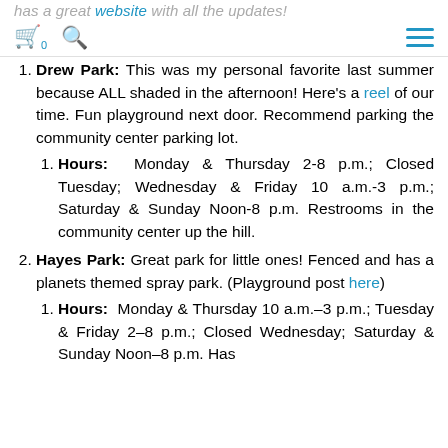has a great website with all the updates!
Cart 0, Search, Menu
Drew Park: This was my personal favorite last summer because ALL shaded in the afternoon! Here's a reel of our time. Fun playground next door. Recommend parking the community center parking lot.
Hours: Monday & Thursday 2-8 p.m.; Closed Tuesday; Wednesday & Friday 10 a.m.-3 p.m.; Saturday & Sunday Noon-8 p.m. Restrooms in the community center up the hill.
Hayes Park: Great park for little ones! Fenced and has a planets themed spray park. (Playground post here)
Hours: Monday & Thursday 10 a.m.–3 p.m.; Tuesday & Friday 2–8 p.m.; Closed Wednesday; Saturday & Sunday Noon–8 p.m. Has